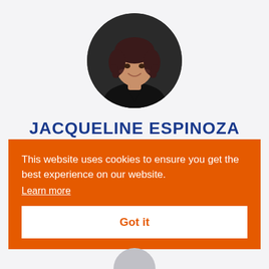[Figure (photo): Circular profile photo of Jacqueline Espinoza, a young woman with dark curly hair, smiling, wearing a black top, against a dark background.]
JACQUELINE ESPINOZA
This website uses cookies to ensure you get the best experience on our website.
Learn more
Got it